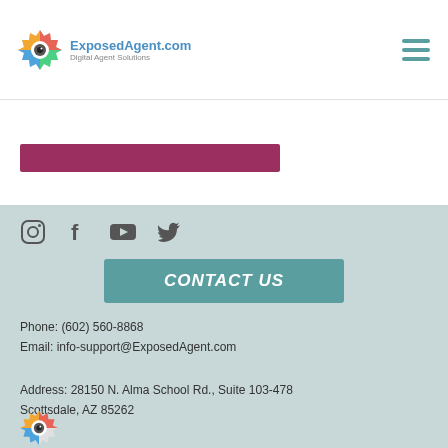[Figure (logo): ExposedAgent.com logo with colorful gear/camera icon and text 'ExposedAgent.com Digital Agent Solutions']
[Figure (other): Hamburger menu icon (three teal horizontal lines)]
[Figure (other): Dark pink/maroon horizontal bar element]
[Figure (other): Social media icons: Instagram, Facebook, YouTube, Twitter]
CONTACT US
Phone: (602) 560-8868
Email: info-support@ExposedAgent.com

Address: 28150 N. Alma School Rd., Suite 103-478 Scottsdale, AZ 85262
[Figure (logo): Partial ExposedAgent.com logo at bottom of page]